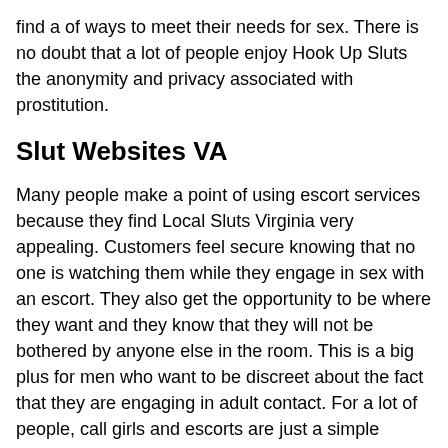find a of ways to meet their needs for sex. There is no doubt that a lot of people enjoy Hook Up Sluts the anonymity and privacy associated with prostitution.
Slut Websites VA
Many people make a point of using escort services because they find Local Sluts Virginia very appealing. Customers feel secure knowing that no one is watching them while they engage in sex with an escort. They also get the opportunity to be where they want and they know that they will not be bothered by anyone else in the room. This is a big plus for men who want to be discreet about the fact that they are engaging in adult contact. For a lot of people, call girls and escorts are just a simple option to engage in sexual activity with a person of the opposite sex.
Many men, however, are now finding it